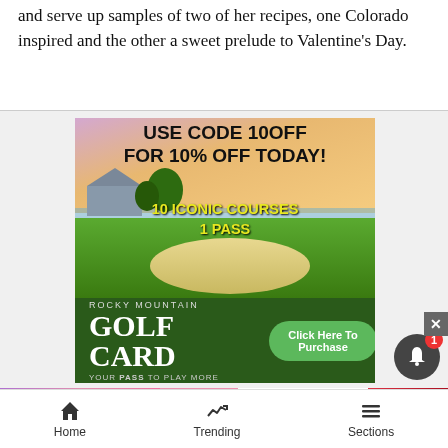and serve up samples of two of her recipes, one Colorado inspired and the other a sweet prelude to Valentine's Day.
[Figure (infographic): Rocky Mountain Golf Card advertisement: 'USE CODE 10OFF FOR 10% OFF TODAY! 10 ICONIC COURSES 1 PASS' with golf course imagery and 'Click Here To Purchase' button]
[Figure (infographic): M·A·C cosmetics advertisement showing lipsticks with 'SHOP NOW' button]
Home   Trending   Sections